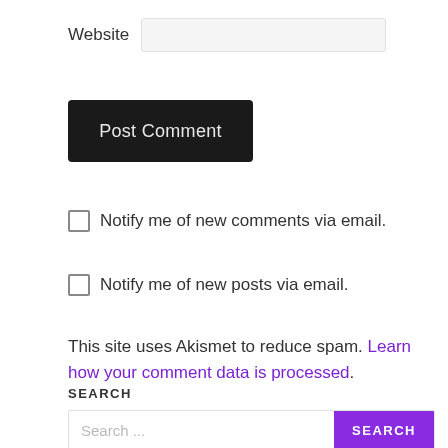Website
Post Comment
Notify me of new comments via email.
Notify me of new posts via email.
This site uses Akismet to reduce spam. Learn how your comment data is processed.
SEARCH
Search ...